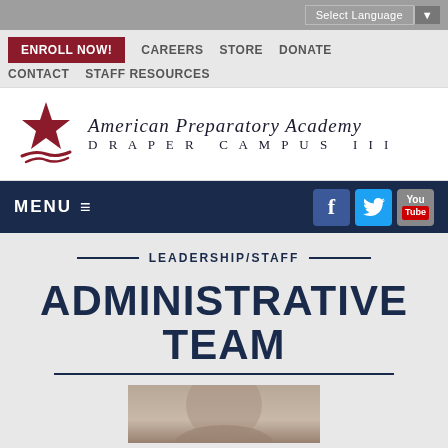Select Language ▼
ENROLL NOW! CAREERS STORE DONATE CONTACT STAFF RESOURCES
[Figure (logo): American Preparatory Academy Draper Campus III logo with dark red star and swoosh]
MENU ☰ (Facebook, Twitter, YouTube icons)
LEADERSHIP/STAFF
ADMINISTRATIVE TEAM
[Figure (photo): Partial photo of a person's head/face, cropped at bottom of page]